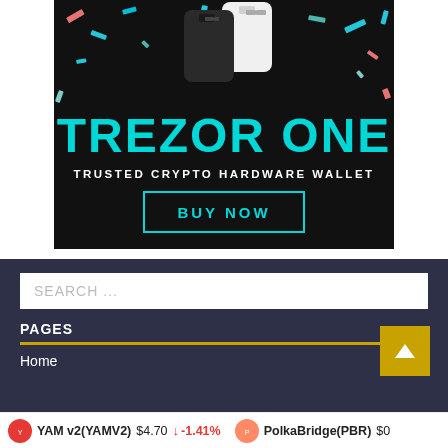[Figure (illustration): Trezor One hardware wallet advertisement on black background. Shows two Trezor hardware wallets (black and white), colorful confetti decoration, large cyan text 'TREZOR ONE', subtitle 'TRUSTED CRYPTO HARDWARE WALLET', and a bordered 'BUY NOW' button in cyan.]
SEARCH ...
PAGES
Home
YAM v2(YAMV2)  $4.70  -1.41%  PolkaBridge(PBR)  $0...